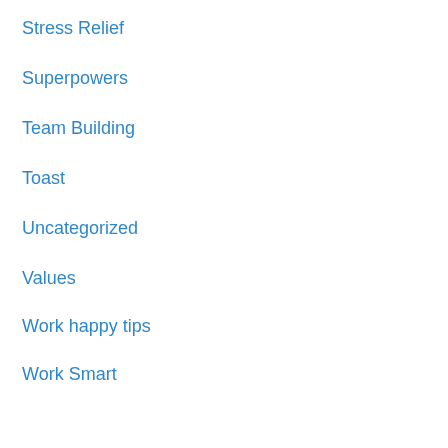Stress Relief
Superpowers
Team Building
Toast
Uncategorized
Values
Work happy tips
Work Smart
Meta
Log in
Entries feed
Comments feed